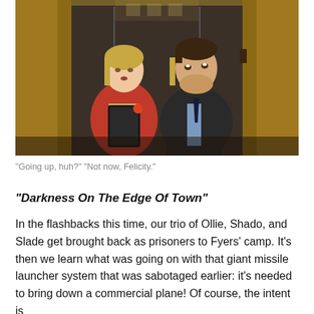[Figure (photo): Two people standing in an elevator. A woman on the left wearing a red jacket holds a black tablet. A man on the right wears a dark suit with a light blue shirt. Both are looking upward.]
“Going up, huh?” “Not now, Felicity.”
“Darkness On The Edge Of Town”
In the flashbacks this time, our trio of Ollie, Shado, and Slade get brought back as prisoners to Fyers’ camp. It’s then we learn what was going on with that giant missile launcher system that was sabotaged earlier: it’s needed to bring down a commercial plane! Of course, the intent is